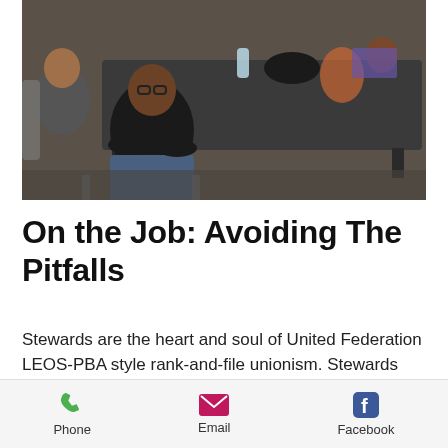[Figure (photo): People sitting around a dark conference table in a meeting room setting. A man in a black t-shirt and jeans is visible prominently in the foreground.]
On the Job: Avoiding The Pitfalls
Stewards are the heart and soul of United Federation LEOS-PBA style rank-and-file unionism. Stewards represent the “United Federation LEOS-PBA in action” as the first line of defense against employer abuses-acting as organizer, counselor, peacemaker, and troublemaker. And that’s a tough job.
Phone  Email  Facebook